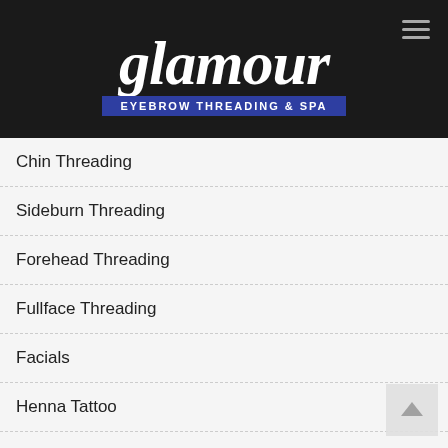[Figure (logo): Glamour Eyebrow Threading & Spa logo with white italic script text on dark background and blue banner subtitle]
Chin Threading
Sideburn Threading
Forehead Threading
Fullface Threading
Facials
Henna Tattoo
Eyelash Extension
Eyelash Tinting